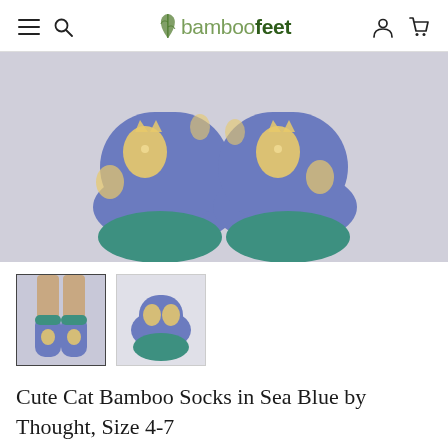bamboofeet — navigation header with menu, search, account, cart icons
[Figure (photo): Close-up photo of a pair of bamboo socks lying soles-up on a light grey background. The socks are blue/periwinkle with yellow cat illustrations and teal/green soles.]
[Figure (photo): Thumbnail 1: Person wearing blue cat socks, full leg view]
[Figure (photo): Thumbnail 2: Blue cat socks laid flat, close-up]
Cute Cat Bamboo Socks in Sea Blue by Thought, Size 4-7
£6.95